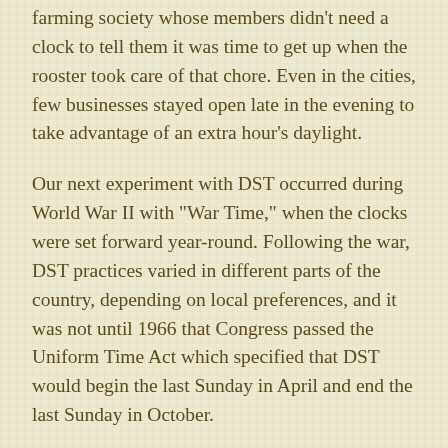farming society whose members didn't need a clock to tell them it was time to get up when the rooster took care of that chore. Even in the cities, few businesses stayed open late in the evening to take advantage of an extra hour's daylight.
Our next experiment with DST occurred during World War II with "War Time," when the clocks were set forward year-round. Following the war, DST practices varied in different parts of the country, depending on local preferences, and it was not until 1966 that Congress passed the Uniform Time Act which specified that DST would begin the last Sunday in April and end the last Sunday in October.
Since then, the starting and ending days have changed a bit. Most recently, with the passage of Energy Policy Act in 2007, DST starts the second Sunday in March and ends today.
But before daylight saving time could be established, folks needed to figure out just what time it was.